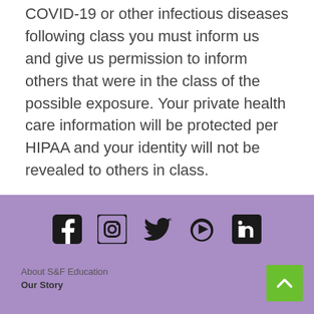COVID-19 or other infectious diseases following class you must inform us and give us permission to inform others that were in the class of the possible exposure. Your private health care information will be protected per HIPAA and your identity will not be revealed to others in class.
[Figure (illustration): Social media icons row: Facebook, Instagram, Twitter, YouTube, LinkedIn]
About S&F Education
Our Story